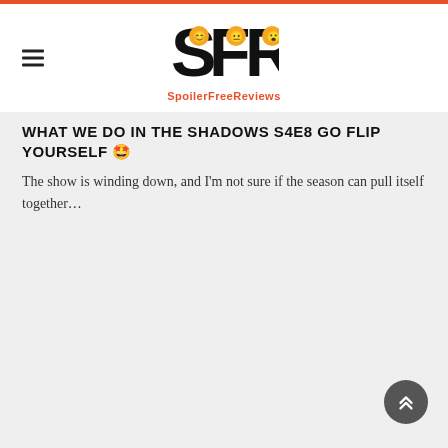SFR SpoilerFreeReviews
WHAT WE DO IN THE SHADOWS S4E8 GO FLIP YOURSELF 🤩
The show is winding down, and I'm not sure if the season can pull itself together...